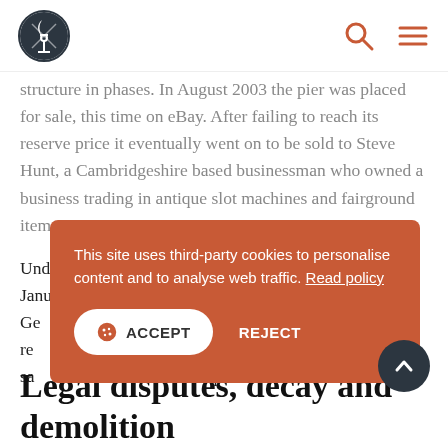[Logo] [Search icon] [Menu icon]
structure in phases. In August 2003 the pier was placed for sale, this time on eBay. After failing to reach its reserve price it eventually went on to be sold to Steve Hunt, a Cambridgeshire based businessman who owned a business trading in antique slot machines and fairground items.
Under Mr Hunt's ownership, the pier re-opened on 17th January 2004. He refits a larger bar in the former Ge[...] and began the re[...] November 2004 sa[...] in the pavilion bu[...]
Legal disputes, decay and demolition